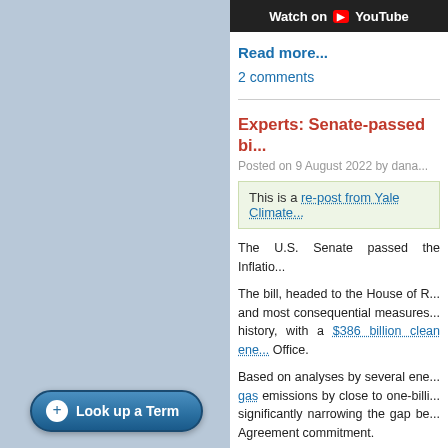[Figure (screenshot): YouTube video thumbnail with 'Watch on YouTube' text on dark background]
Read more...
2 comments
Experts: Senate-passed bi...
Posted on 9 August 2022 by dana...
This is a re-post from Yale Climate...
The U.S. Senate passed the Inflatio...
The bill, headed to the House of R... and most consequential measures... history, with a $386 billion clean ene... Office.
Based on analyses by several ene... gas emissions by close to one-billi... significantly narrowing the gap be... Agreement commitment.
The bill took an almost biblical co...
Look up a Term